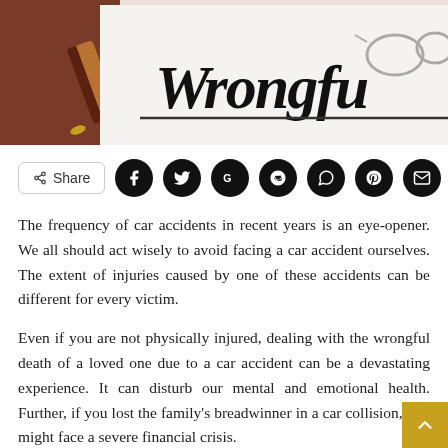[Figure (photo): Photo of a document with the word 'Wrongful' in italic script, with a pen and glasses visible]
Share (with social icons for Facebook, Twitter, Google, Reddit, WhatsApp, Pinterest, Email)
The frequency of car accidents in recent years is an eye-opener. We all should act wisely to avoid facing a car accident ourselves. The extent of injuries caused by one of these accidents can be different for every victim.
Even if you are not physically injured, dealing with the wrongful death of a loved one due to a car accident can be a devastating experience. It can disturb our mental and emotional health. Further, if you lost the family's breadwinner in a car collision, you might face a severe financial crisis.